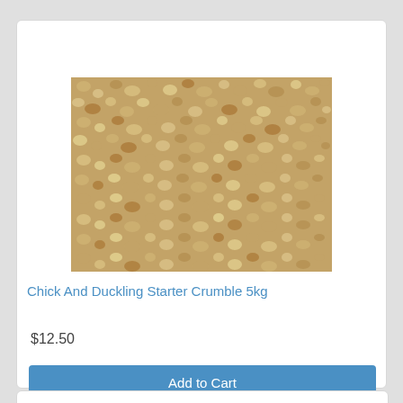[Figure (photo): Close-up photograph of chick and duckling starter crumble feed — small golden-tan granules/crumbles filling the entire frame]
Chick And Duckling Starter Crumble 5kg
$12.50
Add to Cart